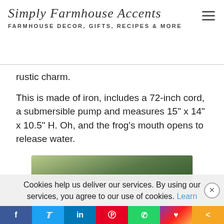Simply Farmhouse Accents — FARMHOUSE DECOR, GIFTS, RECIPES & MORE
rustic charm.
This is made of iron, includes a 72-inch cord, a submersible pump and measures 15" x 14" x 10.5" H. Oh, and the frog's mouth opens to release water.
[Figure (photo): Photo of green leafy plants with a wooden post in the background]
Cookies help us deliver our services. By using our services, you agree to our use of cookies. Learn